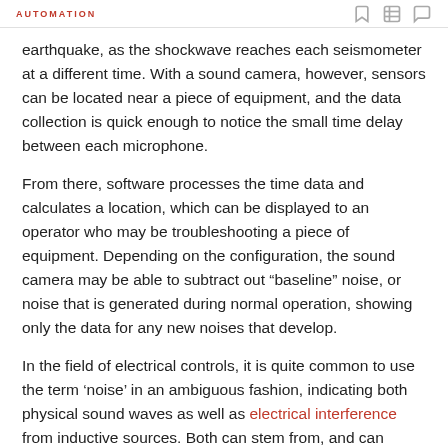AUTOMATION
earthquake, as the shockwave reaches each seismometer at a different time. With a sound camera, however, sensors can be located near a piece of equipment, and the data collection is quick enough to notice the small time delay between each microphone.
From there, software processes the time data and calculates a location, which can be displayed to an operator who may be troubleshooting a piece of equipment. Depending on the configuration, the sound camera may be able to subtract out “baseline” noise, or noise that is generated during normal operation, showing only the data for any new noises that develop.
In the field of electrical controls, it is quite common to use the term ‘noise’ in an ambiguous fashion, indicating both physical sound waves as well as electrical interference from inductive sources. Both can stem from, and can